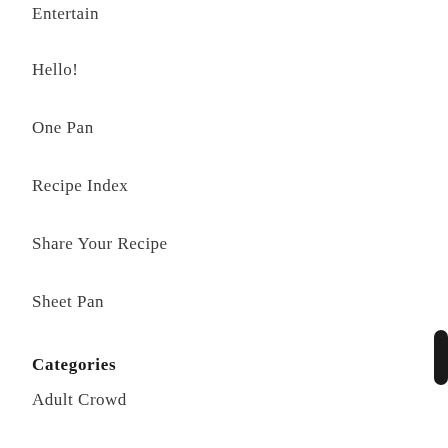Entertain
Hello!
One Pan
Recipe Index
Share Your Recipe
Sheet Pan
Categories
Adult Crowd
All Recipes
All Time Favorites
Carb Conscious
Dairy Free
Family Crowd